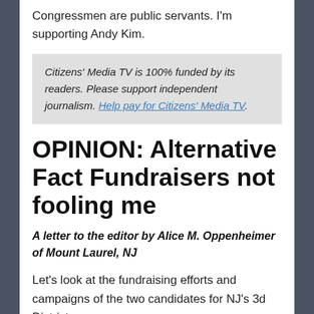Congressmen are public servants. I'm supporting Andy Kim.
Citizens' Media TV is 100% funded by its readers. Please support independent journalism. Help pay for Citizens' Media TV.
OPINION: Alternative Fact Fundraisers not fooling me
A letter to the editor by Alice M. Oppenheimer of Mount Laurel, NJ
Let's look at the fundraising efforts and campaigns of the two candidates for NJ's 3d District.